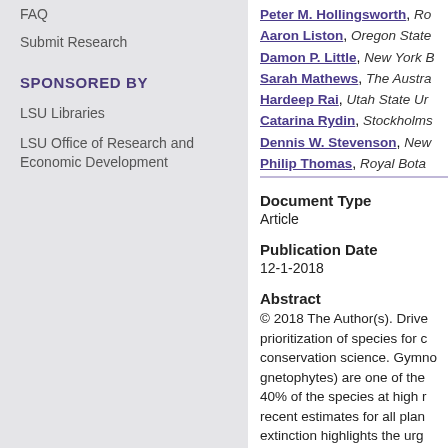FAQ
Submit Research
SPONSORED BY
LSU Libraries
LSU Office of Research and Economic Development
Peter M. Hollingsworth, Ro...
Aaron Liston, Oregon State...
Damon P. Little, New York B...
Sarah Mathews, The Austra...
Hardeep Rai, Utah State Un...
Catarina Rydin, Stockholms...
Dennis W. Stevenson, New...
Philip Thomas, Royal Bota...
Document Type
Article
Publication Date
12-1-2018
Abstract
© 2018 The Author(s). Drive prioritization of species for c conservation science. Gymno gnetophytes) are one of the 40% of the species at high r recent estimates for all plan extinction highlights the urg objective prioritization appr Endangered (EDGE) metho distinctiveness and the extin